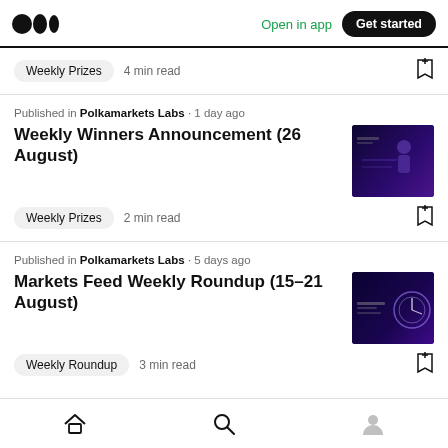Open in app | Get started
Weekly Prizes · 4 min read
Published in Polkamarkets Labs · 1 day ago
Weekly Winners Announcement (26 August)
Weekly Prizes · 2 min read
[Figure (photo): Dark purple background with a person figure, lights and UI elements]
Published in Polkamarkets Labs · 5 days ago
Markets Feed Weekly Roundup (15–21 August)
Weekly Roundup · 3 min read
[Figure (photo): Dark purple/blue background with a clock or circular element and text overlay]
Home | Search | Profile